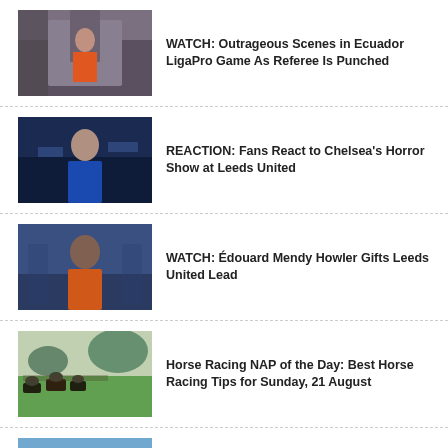[Figure (photo): Referee on soccer field with camera crew nearby]
WATCH: Outrageous Scenes in Ecuador LigaPro Game As Referee Is Punched
[Figure (photo): Chelsea player in blue jersey]
REACTION: Fans React to Chelsea's Horror Show at Leeds United
[Figure (photo): Édouard Mendy in orange goalkeeper kit]
WATCH: Édouard Mendy Howler Gifts Leeds United Lead
[Figure (photo): Horse racing with mountain background]
Horse Racing NAP of the Day: Best Horse Racing Tips for Sunday, 21 August
[Figure (photo): Horse racing on green track]
Racing Tips: Andrew Mount's Spreadex Analysis – Sunday